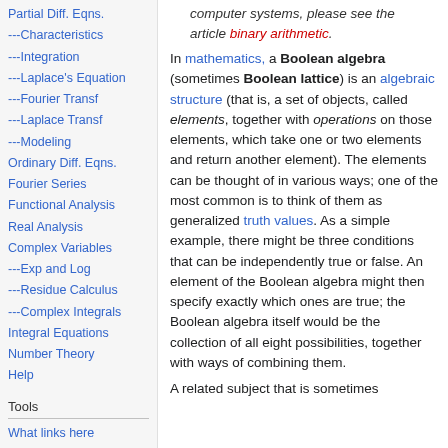Partial Diff. Eqns.
---Characteristics
---Integration
---Laplace's Equation
---Fourier Transf
---Laplace Transf
---Modeling
Ordinary Diff. Eqns.
Fourier Series
Functional Analysis
Real Analysis
Complex Variables
---Exp and Log
---Residue Calculus
---Complex Integrals
Integral Equations
Number Theory
Help
Tools
What links here
Related changes
Special pages
computer systems, please see the article binary arithmetic.
In mathematics, a Boolean algebra (sometimes Boolean lattice) is an algebraic structure (that is, a set of objects, called elements, together with operations on those elements, which take one or two elements and return another element). The elements can be thought of in various ways; one of the most common is to think of them as generalized truth values. As a simple example, there might be three conditions that can be independently true or false. An element of the Boolean algebra might then specify exactly which ones are true; the Boolean algebra itself would be the collection of all eight possibilities, together with ways of combining them.
A related subject that is sometimes...